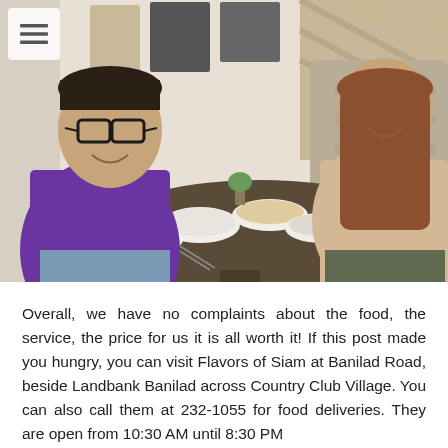[Figure (photo): Two people sitting at a restaurant table with multiple bowls of food. The man on the left wears a purple shirt and glasses, smiling at the camera. The woman on the right wears a beige top and sits on a tufted booth seat. The restaurant interior has decorative wall art and a light wood accent wall.]
Overall, we have no complaints about the food, the service, the price for us it is all worth it! If this post made you hungry, you can visit Flavors of Siam at Banilad Road, beside Landbank Banilad across Country Club Village. You can also call them at 232-1055 for food deliveries. They are open from 10:30 AM until 8:30 PM